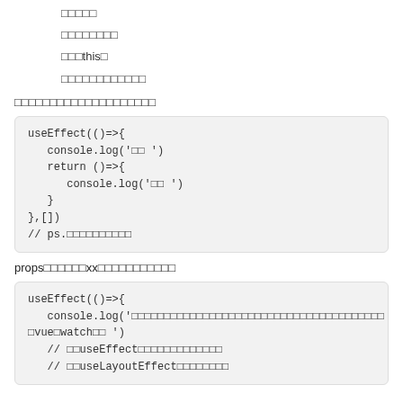□□□□□
□□□□□□□□
□□□this□
□□□□□□□□□□□□
□□□□□□□□□□□□□□□□□□□□
[Figure (screenshot): Code block: useEffect(()=>{ console.log('□□ ') return ()=>{ console.log('□□ ') } },[]) // ps.□□□□□□□□□□]
props□□□□□□xx□□□□□□□□□□□
[Figure (screenshot): Code block: useEffect(()=>{ console.log('□□□□□□□□□□□□□□□□□□□□□□□□□□□□□□□□□□□□□□□vue□watch□□ ') // □□useEffect□□□□□□□□□□□□□ // □□useLayoutEffect□□□□□□□□]